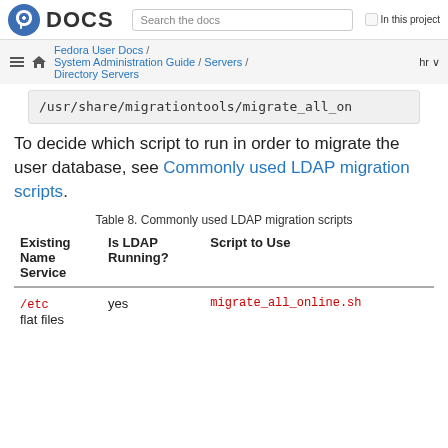Fedora DOCS | Search the docs | In this project | Fedora User Docs / System Administration Guide / Servers / Directory Servers | hr
/usr/share/migrationtools/migrate_all_on
To decide which script to run in order to migrate the user database, see Commonly used LDAP migration scripts.
Table 8. Commonly used LDAP migration scripts
| Existing Name Service | Is LDAP Running? | Script to Use |
| --- | --- | --- |
| /etc flat files | yes | migrate_all_online.sh |